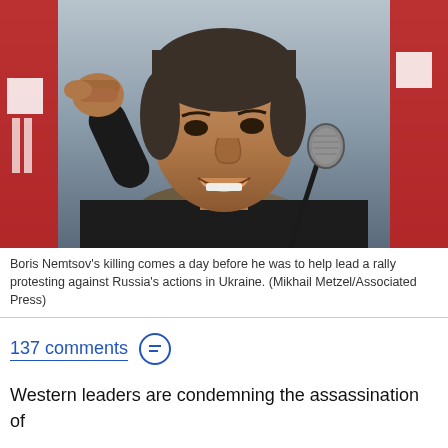[Figure (photo): Boris Nemtsov speaking at a rally with raised fist near a microphone, wearing a black jacket with fur collar. Red banners visible in background.]
Boris Nemtsov's killing comes a day before he was to help lead a rally protesting against Russia's actions in Ukraine. (Mikhail Metzel/Associated Press)
137 comments
Western leaders are condemning the assassination of